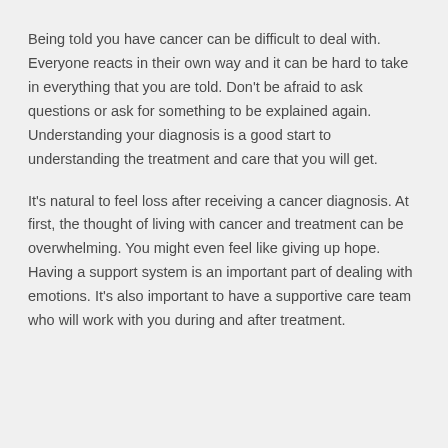Being told you have cancer can be difficult to deal with. Everyone reacts in their own way and it can be hard to take in everything that you are told. Don't be afraid to ask questions or ask for something to be explained again. Understanding your diagnosis is a good start to understanding the treatment and care that you will get.
It's natural to feel loss after receiving a cancer diagnosis. At first, the thought of living with cancer and treatment can be overwhelming. You might even feel like giving up hope. Having a support system is an important part of dealing with emotions. It's also important to have a supportive care team who will work with you during and after treatment.